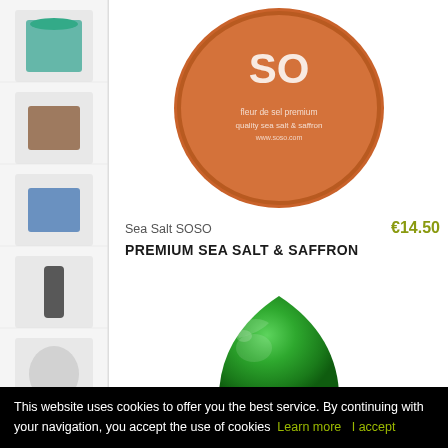[Figure (photo): Sidebar with multiple small product thumbnail images stacked vertically on a light gray background]
[Figure (photo): Orange round tin/container with 'SO' logo and text 'fleur de sel premium quality sea salt & saffron' - top view of product]
Sea Salt SOSO
€14.50
PREMIUM SEA SALT & SAFFRON
[Figure (photo): Green metallic egg-shaped container with 'so' logo - the SOSO premium sea salt & saffron product packaging]
This website uses cookies to offer you the best service. By continuing with your navigation, you accept the use of cookies  Learn more  I accept